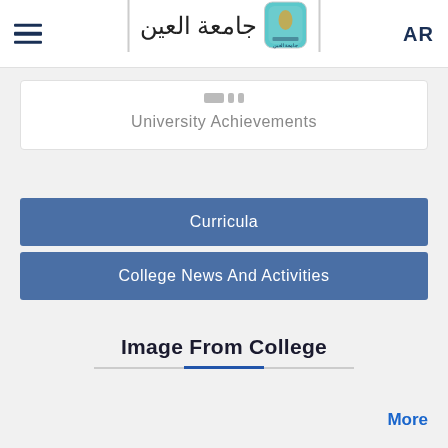Al Ain University — AR
University Achievements
Curricula
College News And Activities
Image From College
More